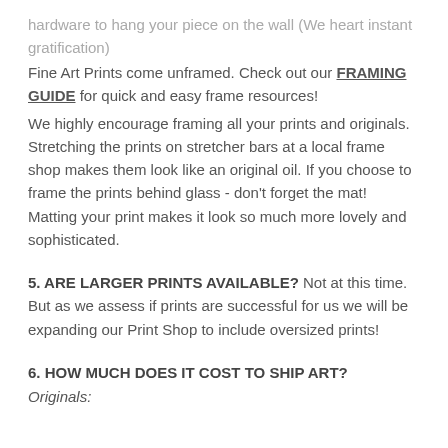hardware to hang your piece on the wall (We heart instant gratification)
Fine Art Prints come unframed. Check out our FRAMING GUIDE for quick and easy frame resources!
We highly encourage framing all your prints and originals. Stretching the prints on stretcher bars at a local frame shop makes them look like an original oil. If you choose to frame the prints behind glass - don't forget the mat! Matting your print makes it look so much more lovely and sophisticated.
5. ARE LARGER PRINTS AVAILABLE?  Not at this time. But as we assess if prints are successful for us we will be expanding our Print Shop to include oversized prints!
6. HOW MUCH DOES IT COST TO SHIP ART?
Originals: